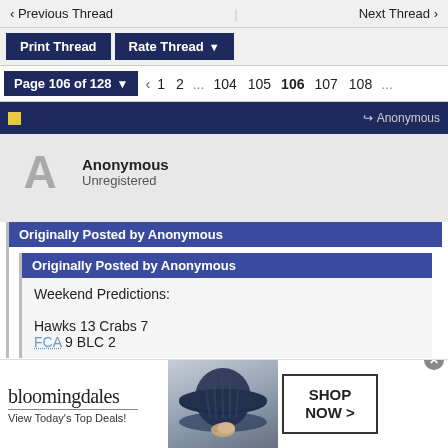◄ Previous Thread    Next Thread ›
Print Thread   Rate Thread ▼
Page 106 of 128 ▼  ‹  1  2  ...  104  105  106  107  108  ...
Anonymous
Anonymous
Unregistered
Originally Posted by Anonymous
Originally Posted by Anonymous
Weekend Predictions:

Hawks 13 Crabs 7
FCA 9 BLC 2
[Figure (screenshot): Bloomingdale's advertisement banner showing logo, 'View Today's Top Deals!', woman with hat image, and 'SHOP NOW >' button]